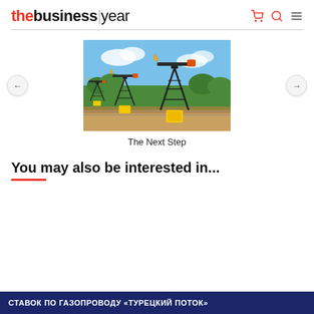thebusiness|year
[Figure (photo): Oil pump jacks (pumpjacks) in a field with blue sky and green trees in background]
The Next Step
You may also be interested in...
[Figure (screenshot): Blue banner with Cyrillic text: СТАВОК ПО ГАЗОПРОВОДУ «ТУРЕЦКИЙ ПОТОК»]